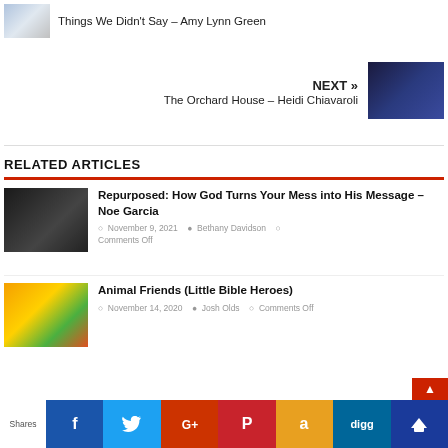Things We Didn't Say – Amy Lynn Green
NEXT »
The Orchard House – Heidi Chiavaroli
RELATED ARTICLES
Repurposed: How God Turns Your Mess into His Message – Noe Garcia
November 9, 2021   Bethany Davidson   Comments Off
Animal Friends (Little Bible Heroes)
November 14, 2020   Josh Olds   Comments Off
Shares